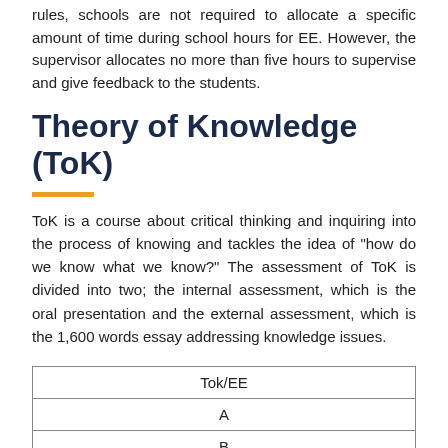rules, schools are not required to allocate a specific amount of time during school hours for EE. However, the supervisor allocates no more than five hours to supervise and give feedback to the students.
Theory of Knowledge (ToK)
ToK is a course about critical thinking and inquiring into the process of knowing and tackles the idea of “how do we know what we know?” The assessment of ToK is divided into two; the internal assessment, which is the oral presentation and the external assessment, which is the 1,600 words essay addressing knowledge issues.
| Tok/EE |
| --- |
| A |
| B |
| C |